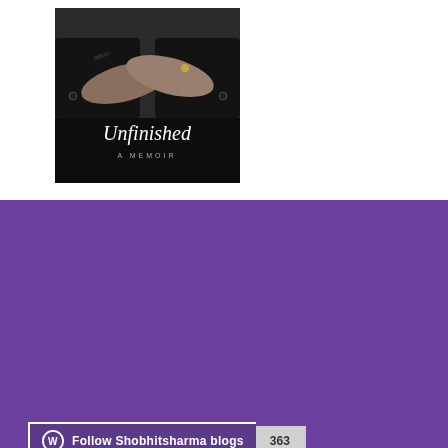[Figure (photo): Book cover of 'Unfinished: A Memoir' showing crossed hands in dark clothing with script title text]
Follow Shobhitsharma blogs 363
HOURS & INFO
[Figure (map): Google Maps screenshot showing Dadri area with markers for RK AGRO PIG FARM & TRAINING CENTER, SUB REGISTRAR OFFICE DADRI, and Mahiuddinpur Urf Garakhpur location]